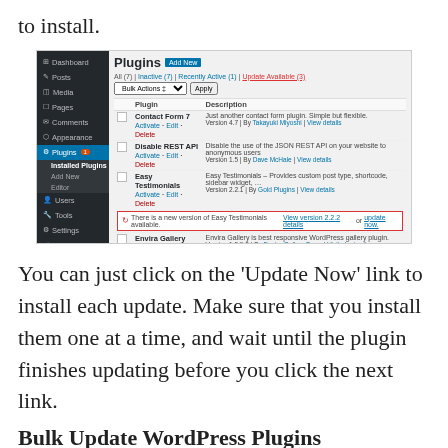to install.
[Figure (screenshot): WordPress admin Plugins page showing installed plugins including Contact Form 7, Disable REST API, Easy Testimonials (with red update notice for version 2.2.2), Envira Gallery, and Site Reviews (with yellow update notice for version 2.3.1). Sidebar shows Dashboard, Posts, Media, Pages, Comments, Appearance, Plugins (active), Users, Tools, Settings, Collapse menu.]
You can just click on the ‘Update Now’ link to install each update. Make sure that you install them one at a time, and wait until the plugin finishes updating before you click the next link.
Bulk Update WordPress Plugins